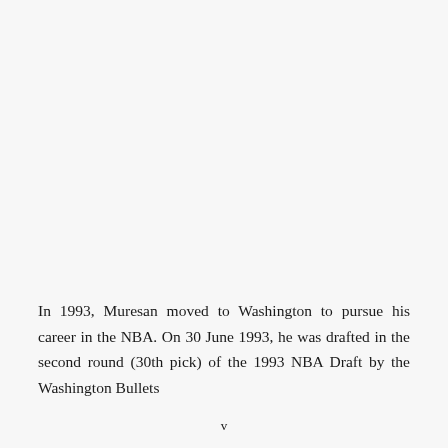In 1993, Muresan moved to Washington to pursue his career in the NBA. On 30 June 1993, he was drafted in the second round (30th pick) of the 1993 NBA Draft by the Washington Bullets
v